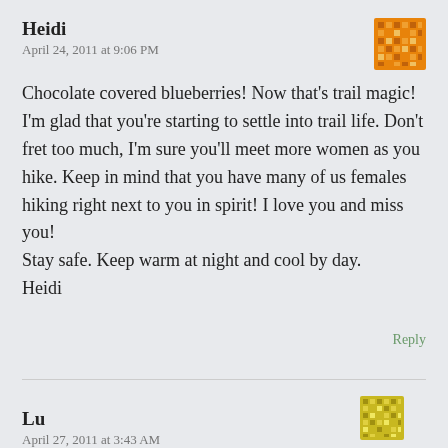Heidi
April 24, 2011 at 9:06 PM
[Figure (illustration): Orange pixel/mosaic avatar icon for user Heidi]
Chocolate covered blueberries! Now that's trail magic! I'm glad that you're starting to settle into trail life. Don't fret too much, I'm sure you'll meet more women as you hike. Keep in mind that you have many of us females hiking right next to you in spirit! I love you and miss you!
Stay safe. Keep warm at night and cool by day.
Heidi
Reply
Lu
April 27, 2011 at 3:43 AM
[Figure (illustration): Yellow pixel/mosaic avatar icon for user Lu]